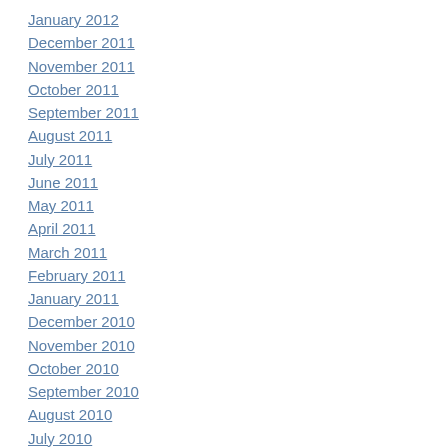January 2012
December 2011
November 2011
October 2011
September 2011
August 2011
July 2011
June 2011
May 2011
April 2011
March 2011
February 2011
January 2011
December 2010
November 2010
October 2010
September 2010
August 2010
July 2010